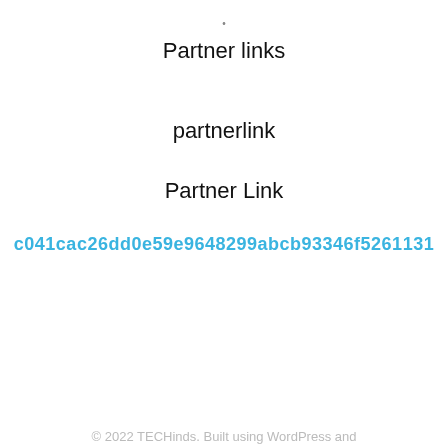•
Partner links
partnerlink
Partner Link
c041cac26dd0e59e9648299abcb93346f5261131
© 2022 TECHinds. Built using WordPress and